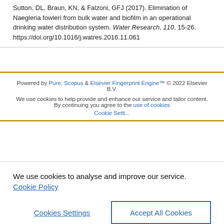Sutton, DL, Braun, KN, & Falzoni, GFJ (2017). Elimination of Naegleria fowleri from bulk water and biofilm in an operational drinking water distribution system. Water Research, 110, 15-26. https://doi.org/10.1016/j.watres.2016.11.061
Powered by Pure, Scopus & Elsevier Fingerprint Engine™ © 2022 Elsevier B.V.
We use cookies to help provide and enhance our service and tailor content. By continuing you agree to the use of cookies
Cookie Settings
We use cookies to analyse and improve our service. Cookie Policy
Cookies Settings | Accept All Cookies